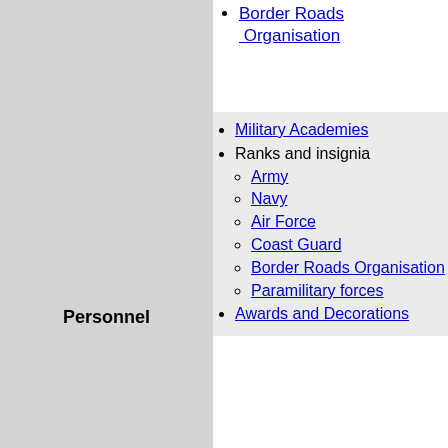Border Roads Organisation
Military Academies
Ranks and insignia
Army
Navy
Air Force
Coast Guard
Border Roads Organisation
Paramilitary forces
Awards and Decorations
Personnel
Indo-Pakistani wars
1947–1948
1965
Battle of Asal Uttar
Battle of Chawinda
1971
Naval War
Air War
Battle of Chamb
Operation Trident
Operation Cactus-Lilly
Battle of Longewala
Wars